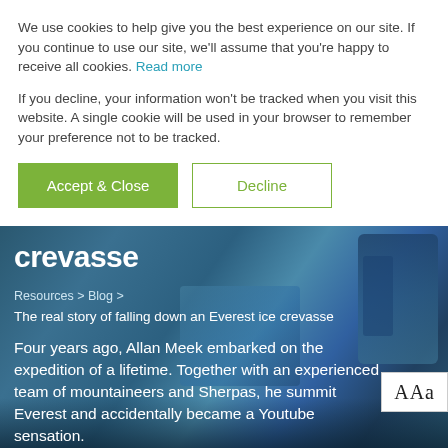We use cookies to help give you the best experience on our site. If you continue to use our site, we'll assume that you're happy to receive all cookies. Read more
If you decline, your information won't be tracked when you visit this website. A single cookie will be used in your browser to remember your preference not to be tracked.
[Figure (screenshot): Two buttons: 'Accept & Close' (green filled) and 'Decline' (green outline)]
[Figure (photo): Dark blue-tinted hero image of mountaineers/crevasse with 'crevasse' logo, breadcrumb navigation, article title, and intro text. A font-size widget (AAa) appears in the lower right corner.]
crevasse
Resources > Blog >
The real story of falling down an Everest ice crevasse
Four years ago, Allan Meek embarked on the expedition of a lifetime. Together with an experienced team of mountaineers and Sherpas, he summit Everest and accidentally became a Youtube sensation.